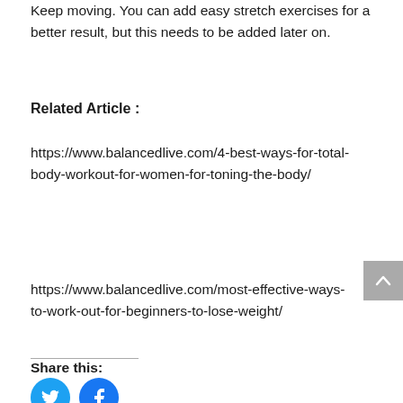Keep moving. You can add easy stretch exercises for a better result, but this needs to be added later on.
Related Article :
https://www.balancedlive.com/4-best-ways-for-total-body-workout-for-women-for-toning-the-body/
https://www.balancedlive.com/most-effective-ways-to-work-out-for-beginners-to-lose-weight/
Share this: